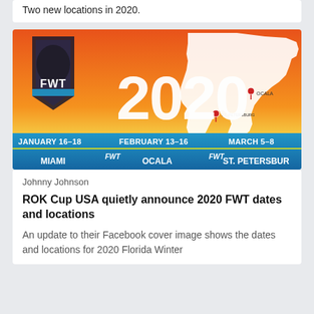Two new locations in 2020.
[Figure (infographic): FWT 2020 Florida Winter Tour banner with orange/blue gradient background, Florida state map outline, and three event dates/locations: January 16-18 Miami, February 13-16 Ocala, March 5-8 St. Petersburg]
Johnny Johnson
ROK Cup USA quietly announce 2020 FWT dates and locations
An update to their Facebook cover image shows the dates and locations for 2020 Florida Winter